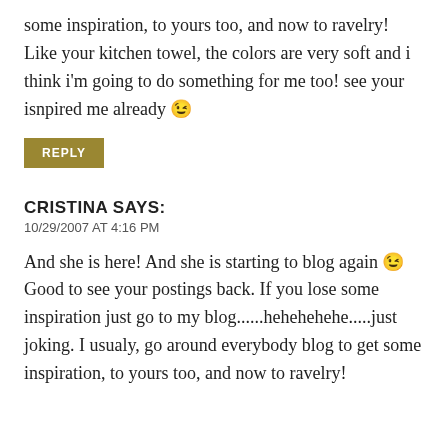some inspiration, to yours too, and now to ravelry! Like your kitchen towel, the colors are very soft and i think i'm going to do something for me too! see your isnpired me already 😉
REPLY
CRISTINA SAYS:
10/29/2007 AT 4:16 PM
And she is here! And she is starting to blog again 😉 Good to see your postings back. If you lose some inspiration just go to my blog......hehehehehe.....just joking. I usualy, go around everybody blog to get some inspiration, to yours too, and now to ravelry!